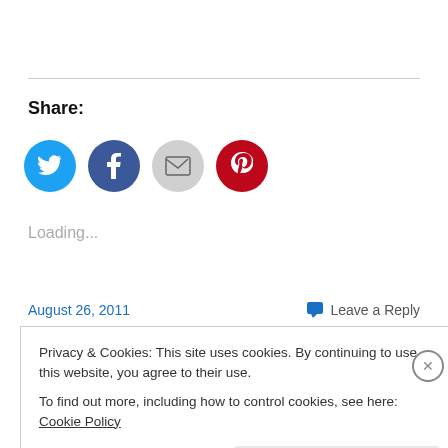Share:
[Figure (illustration): Social share icons row: Twitter (blue circle with bird), Facebook (dark blue circle with f), Email (gray circle with envelope), Pinterest (red circle with P)]
Loading...
August 26, 2011
💬 Leave a Reply
Privacy & Cookies: This site uses cookies. By continuing to use this website, you agree to their use.
To find out more, including how to control cookies, see here: Cookie Policy
Close and accept